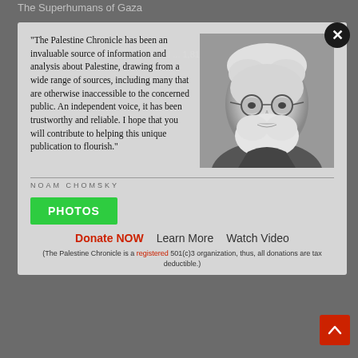The Superhumans of Gaza
NEXT
70 Bodies Found ... 1,81...
"The Palestine Chronicle has been an invaluable source of information and analysis about Palestine, drawing from a wide range of sources, including many that are otherwise inaccessible to the concerned public. An independent voice, it has been trustworthy and reliable. I hope that you will contribute to helping this unique publication to flourish."
[Figure (photo): Black and white portrait photo of Noam Chomsky, elderly man with glasses and white beard]
NOAM CHOMSKY
PHOTOS
Donate NOW
Learn More
Watch Video
(The Palestine Chronicle is a registered 501(c)3 organization, thus, all donations are tax deductible.)